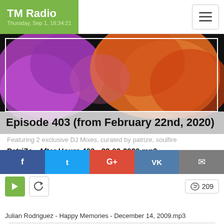TM Radio — Thursday, Sep 1, 18:34:21
[Figure (photo): Colorful smoke art photo (purple and orange) with overlay title: Episode 403 (from February 22nd, 2020)]
Featuring 2 exclusive DJ Mixes, curated by patrize, soulfire
PatriZe - After Hours 403 - 22-02-2020.mp3
[Figure (screenshot): Audio player showing 0:00 / 0:00 with progress bar, volume icon and options icon]
▶ 4   ↓ 59   share
Soulfire - After Hours 403 - 22-02-2020.mp3
[Figure (screenshot): Audio player showing 0:00 / 0:00 (partially cut off)]
Julian Rodriguez - Happy Memories - December 14, 2009.mp3